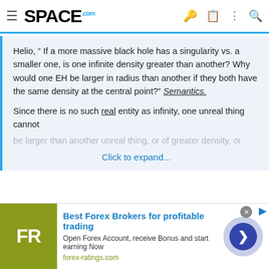SPACE.com
Helio, " If a more massive black hole has a singularity vs. a smaller one, is one infinite density greater than another? Why would one EH be larger in radius than another if they both have the same density at the central point?" Semantics.

Since there is no such real entity as infinity, one unreal thing cannot be larger than another unreal thing, or of greater density, or

Click to expand...
Even living on the top floor of a building Vs the bottom floor on Earth has an event horizon in time.
If we expand that thinking to black holes then the event horizon is just deeper time and every part of a black hole is a new event horizon.
[Figure (screenshot): Advertisement banner for ForexRatings.com: Best Forex Brokers for profitable trading. Open Forex Account, receive Bonus and start earning Now. forex-ratings.com]